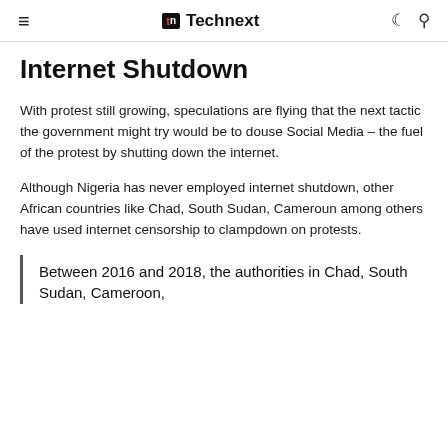≡  tn Technext  ☾ 🔍
Internet Shutdown
With protest still growing, speculations are flying that the next tactic the government might try would be to douse Social Media – the fuel of the protest by shutting down the internet.
Although Nigeria has never employed internet shutdown, other African countries like Chad, South Sudan, Cameroun among others have used internet censorship to clampdown on protests.
Between 2016 and 2018, the authorities in Chad, South Sudan, Cameroon,